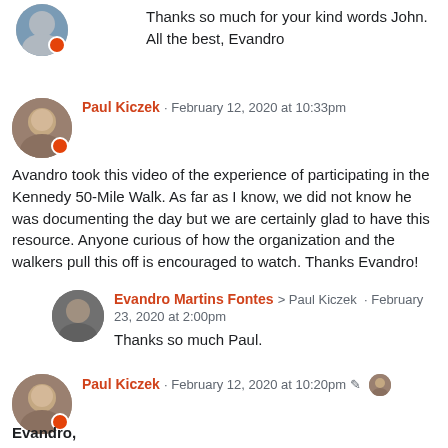Thanks so much for your kind words John. All the best, Evandro
Paul Kiczek · February 12, 2020 at 10:33pm
Avandro took this video of the experience of participating in the Kennedy 50-Mile Walk. As far as I know, we did not know he was documenting the day but we are certainly glad to have this resource. Anyone curious of how the organization and the walkers pull this off is encouraged to watch. Thanks Evandro!
Evandro Martins Fontes > Paul Kiczek · February 23, 2020 at 2:00pm
Thanks so much Paul.
Paul Kiczek · February 12, 2020 at 10:20pm
Evandro,
Wow! Such a great video that captures much of the experience. I would like to contact you to tell me more